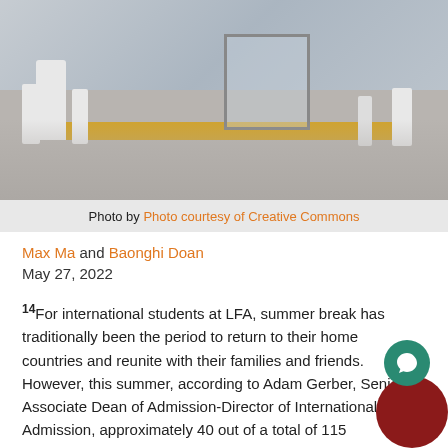[Figure (photo): Airport or transit scene showing people in white clothing near glass doors and a yellow tactile strip on the floor]
Photo by Photo courtesy of Creative Commons
Max Ma and Baonghi Doan
May 27, 2022
14For international students at LFA, summer break has traditionally been the period to return to their home countries and reunite with their families and friends. However, this summer, according to Adam Gerber, Senior Associate Dean of Admission-Director of International Admission, approximately 40 out of a total of 115 international students can not return to their home country.